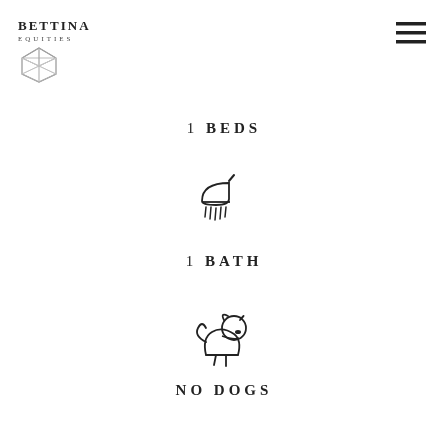Bettina Equities
1 BEDS
[Figure (illustration): Shower head icon with water droplets falling]
1 BATH
[Figure (illustration): Sitting dog icon]
NO DOGS